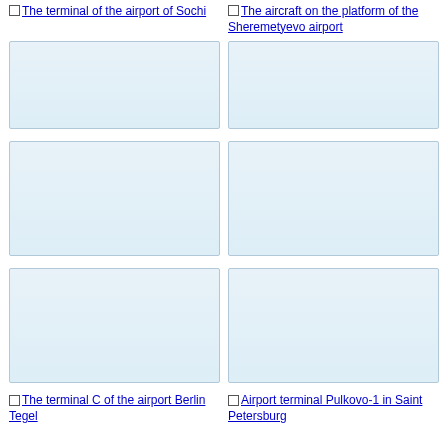[Figure (photo): The terminal of the airport of Sochi - image placeholder (light blue box)]
[Figure (photo): The aircraft on the platform of the Sheremetyevo airport - image placeholder (light blue box)]
The terminal of the airport of Sochi
The aircraft on the platform of the Sheremetyevo airport
[Figure (photo): Image placeholder (light blue box)]
[Figure (photo): Image placeholder (light blue box)]
[Figure (photo): Image placeholder (light blue box)]
[Figure (photo): Image placeholder (light blue box)]
The terminal C of the airport Berlin Tegel
Airport terminal Pulkovo-1 in Saint Petersburg